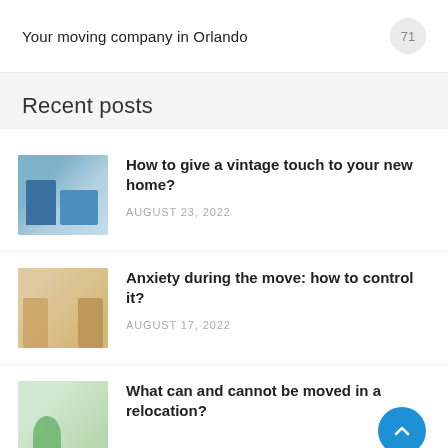Your moving company in Orlando  71
Recent posts
[Figure (photo): Interior room with blue armchair and blue sideboard cabinet]
How to give a vintage touch to your new home?
AUGUST 23, 2022
[Figure (photo): Person sitting on floor surrounded by moving boxes]
Anxiety during the move: how to control it?
AUGUST 17, 2022
[Figure (photo): Plant and moving items for relocation]
What can and cannot be moved in a relocation?